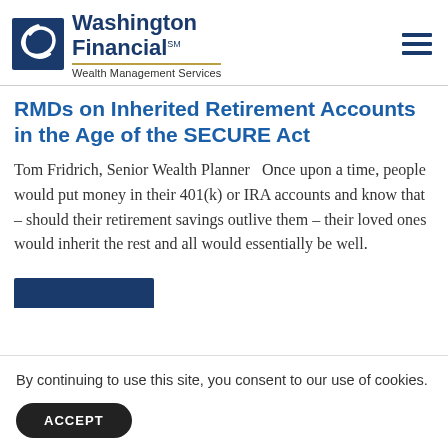Washington Financial℠ Wealth Management Services
RMDs on Inherited Retirement Accounts in the Age of the SECURE Act
Tom Fridrich, Senior Wealth Planner   Once upon a time, people would put money in their 401(k) or IRA accounts and know that – should their retirement savings outlive them – their loved ones would inherit the rest and all would essentially be well.
By continuing to use this site, you consent to our use of cookies.